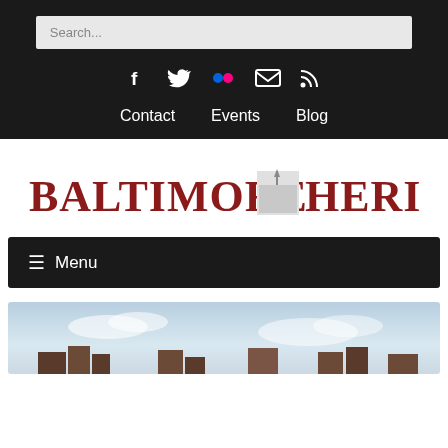Search...
Social icons: Facebook, Twitter, Flickr, Email, RSS
Contact   Events   Blog
BALTIMORE HERITAGE
☰ Menu
[Figure (photo): Partial photo of Baltimore buildings with sky background, cut off at bottom of page]